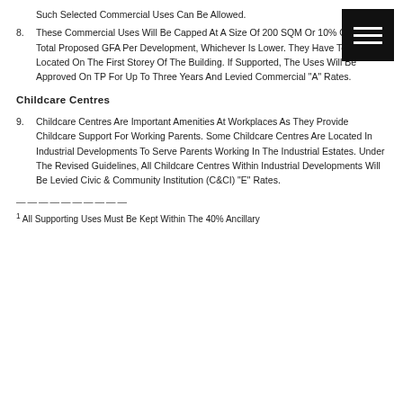Such Selected Commercial Uses Can Be Allowed.
8. These Commercial Uses Will Be Capped At A Size Of 200 SQM Or 10% Of The Total Proposed GFA Per Development, Whichever Is Lower. They Have To Be Located On The First Storey Of The Building. If Supported, The Uses Will Be Approved On TP For Up To Three Years And Levied Commercial "A" Rates.
Childcare Centres
9. Childcare Centres Are Important Amenities At Workplaces As They Provide Childcare Support For Working Parents. Some Childcare Centres Are Located In Industrial Developments To Serve Parents Working In The Industrial Estates. Under The Revised Guidelines, All Childcare Centres Within Industrial Developments Will Be Levied Civic & Community Institution (C&CI) "E" Rates.
——————————
1 All Supporting Uses Must Be Kept Within The 40% Ancillary